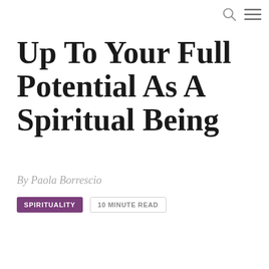Up To Your Full Potential As A Spiritual Being
By Paola Borrescio
SPIRITUALITY    10 MINUTE READ